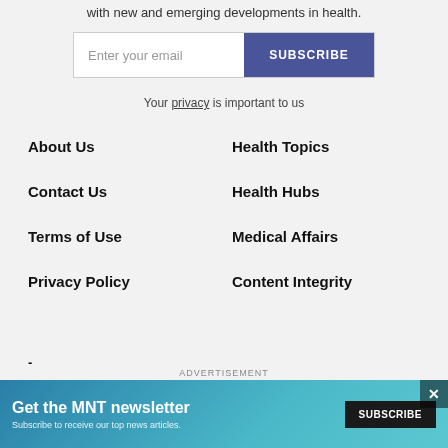with new and emerging developments in health.
Enter your email | SUBSCRIBE
Your privacy is important to us
About Us
Health Topics
Contact Us
Health Hubs
Terms of Use
Medical Affairs
Privacy Policy
Content Integrity
ADVERTISEMENT
Get the MNT newsletter — Subscribe to receive our top news articles. SUBSCRIBE